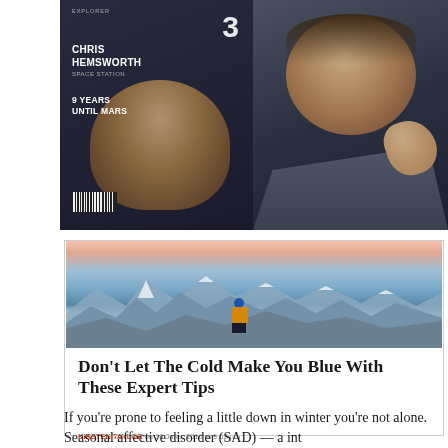[Figure (photo): Top split image: left side shows a magazine cover with Chris Hemsworth, number 3, and text '9 YEARS UNTIL MARS'; right side shows a man in suit touching his chin thoughtfully]
[Figure (photo): Mountain landscape photo showing a person in yellow jacket and blue hat standing on a snowy mountain peak facing a panoramic view of snow-covered mountains]
Don't Let The Cold Make You Blue With These Expert Tips
KIRSTEN TAYLOR on 16 June, 2016 at 9:02 pm
If you're prone to feeling a little down in winter you're not alone. Seasonal affective disorder (SAD) — a int